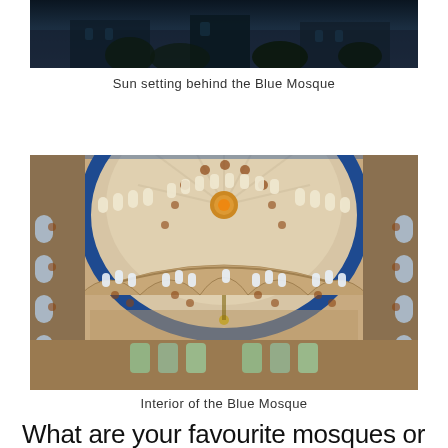[Figure (photo): Top portion of a photo showing the Blue Mosque at sunset with dark blue night sky tones]
Sun setting behind the Blue Mosque
[Figure (photo): Interior of the Blue Mosque showing ornate domed ceiling with intricate Islamic tile patterns in beige, brown, and blue, with arched windows letting in light]
Interior of the Blue Mosque
What are your favourite mosques or other